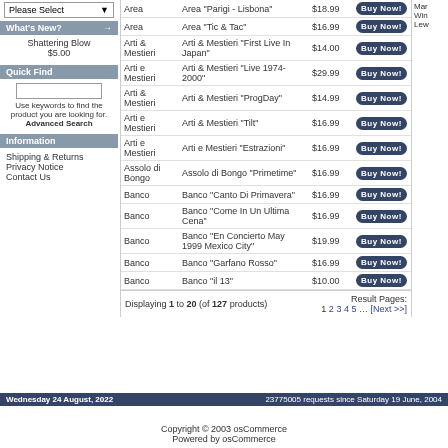Please Select
What's New?
Shattering Blow $5.00
Quick Find
Use keywords to find the product you are looking for. Advanced Search
Information
Shipping & Returns
Privacy Notice
Contact Us
| Artist | Product | Price |  |
| --- | --- | --- | --- |
| Area | Area "Parigi - Lisbona" | $18.99 | Buy Now! |
| Area | Area "Tic & Tac" | $16.99 | Buy Now! |
| Arti & Mestieri | Arti & Mestieri "First Live In Japan" | $14.00 | Buy Now! |
| Arti e Mestieri | Arti & Mestieri "Live 1974-2000" | $29.99 | Buy Now! |
| Arti & Mestieri | Arti & Mestieri "ProgDay" | $14.99 | Buy Now! |
| Arti e Mestieri | Arti & Mestieri "Tilt" | $16.99 | Buy Now! |
| Arti e Mestieri | Arti e Mestieri "Estrazioni" | $16.99 | Buy Now! |
| Assolo di Bongo | Assolo di Bongo "Primetime" | $16.99 | Buy Now! |
| Banco | Banco "Canto Di Primavera" | $16.99 | Buy Now! |
| Banco | Banco "Come In Un Ultima Cena" | $16.99 | Buy Now! |
| Banco | Banco "En Concierto May 1999 Mexico City" | $19.99 | Buy Now! |
| Banco | Banco "Garfano Rosso" | $16.99 | Buy Now! |
| Banco | Banco "il 13" | $10.00 | Buy Now! |
Displaying 1 to 20 (of 127 products)
Result Pages: 1 2 3 4 5 ... [Next >>]
Wednesday 24 August, 2022    23775005 requests since Saturday 19 June, 2004
Copyright © 2003 osCommerce
Powered by osCommerce